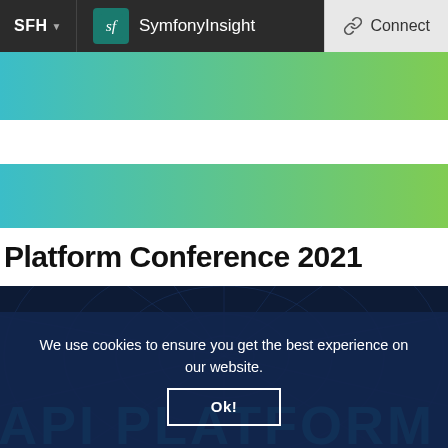SFH ▼   SymfonyInsight   Connect
[Figure (screenshot): Teal-to-green gradient banner strip at top]
[Figure (screenshot): Second teal-to-green gradient banner strip]
Platform Conference 2021
[Figure (illustration): Dark navy blue background with spider-web geometric line pattern and large teal text 'API PLATFORM' at the bottom]
We use cookies to ensure you get the best experience on our website.
Ok!